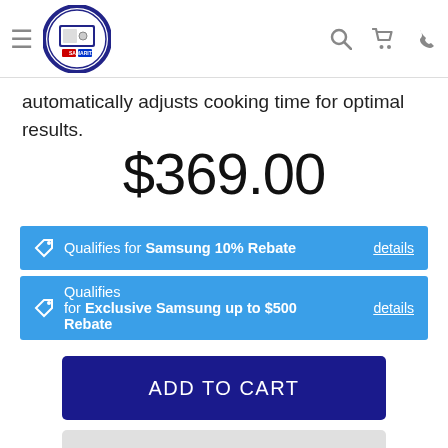Samaritan Appliance — navigation header
automatically adjusts cooking time for optimal results.
$369.00
Qualifies for Samsung 10% Rebate details
Qualifies for Exclusive Samsung up to $500 Rebate details
ADD TO CART
REQUEST MORE INFO